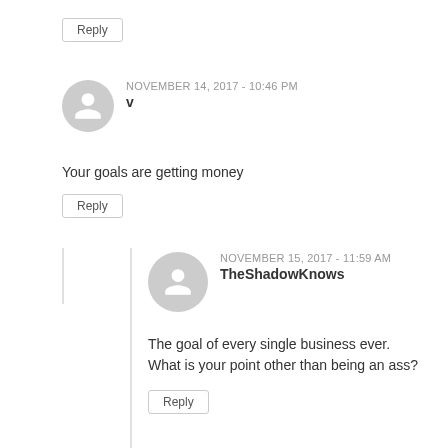Reply
NOVEMBER 14, 2017 - 10:46 PM
v
Your goals are getting money
Reply
NOVEMBER 15, 2017 - 11:59 AM
TheShadowKnows
The goal of every single business ever. What is your point other than being an ass?
Reply
NOVEMBER 15, 2017 - 10:07 AM
Ham, ham, ham
Thank you for your reply, Bryce. Please don't get me wrong – your project is promising and you can achieve great results by